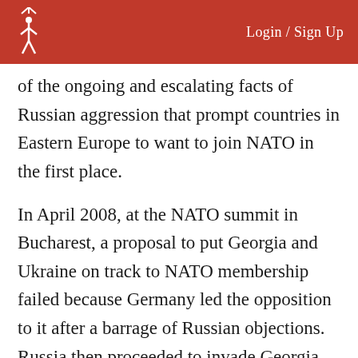Login / Sign Up
of the ongoing and escalating facts of Russian aggression that prompt countries in Eastern Europe to want to join NATO in the first place.
In April 2008, at the NATO summit in Bucharest, a proposal to put Georgia and Ukraine on track to NATO membership failed because Germany led the opposition to it after a barrage of Russian objections. Russia then proceeded to invade Georgia just